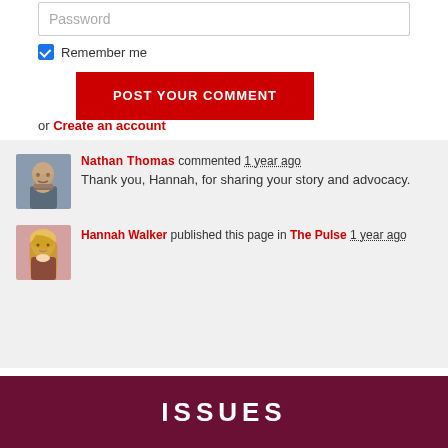Password
Remember me
POST YOUR COMMENT
or Create an account
Nathan Thomas commented 1 year ago
Thank you, Hannah, for sharing your story and advocacy.
Hannah Walker published this page in The Pulse 1 year ago
ISSUES